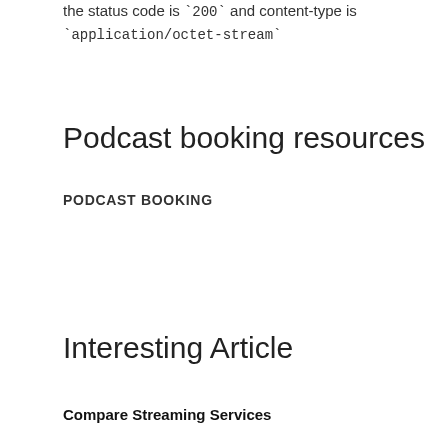the status code is `200` and content-type is `application/octet-stream`
Podcast booking resources
PODCAST BOOKING
Interesting Article
Compare Streaming Services